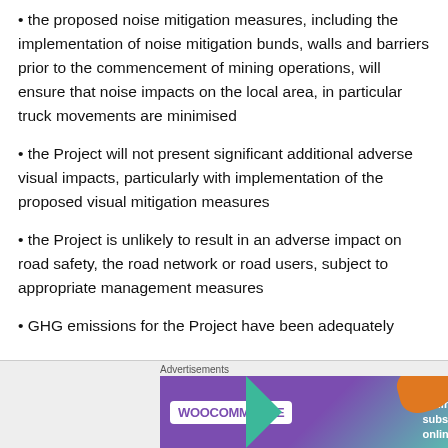• the proposed noise mitigation measures, including the implementation of noise mitigation bunds, walls and barriers prior to the commencement of mining operations, will ensure that noise impacts on the local area, in particular truck movements are minimised
• the Project will not present significant additional adverse visual impacts, particularly with implementation of the proposed visual mitigation measures
• the Project is unlikely to result in an adverse impact on road safety, the road network or road users, subject to appropriate management measures
• GHG emissions for the Project have been adequately
[Figure (other): WooCommerce advertisement banner: 'How to start selling subscriptions online']